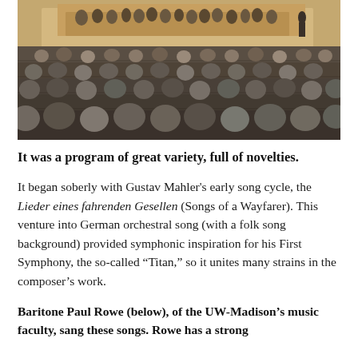[Figure (photo): Concert hall interior with audience seated in rows facing an orchestra on stage, viewed from the back of the hall. Stage has warm amber/wood tones with orchestra musicians and conductor visible.]
It was a program of great variety, full of novelties.
It began soberly with Gustav Mahler's early song cycle, the Lieder eines fahrenden Gesellen (Songs of a Wayfarer). This venture into German orchestral song (with a folk song background) provided symphonic inspiration for his First Symphony, the so-called “Titan,” so it unites many strains in the composer’s work.
Baritone Paul Rowe (below), of the UW-Madison’s music faculty, sang these songs. Rowe has a strong